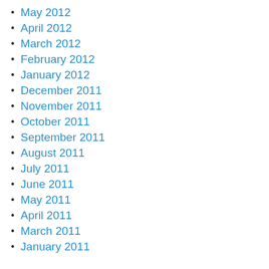May 2012
April 2012
March 2012
February 2012
January 2012
December 2011
November 2011
October 2011
September 2011
August 2011
July 2011
June 2011
May 2011
April 2011
March 2011
January 2011